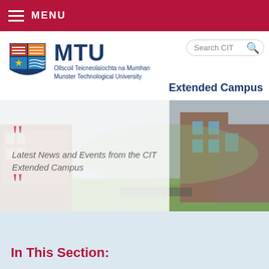MENU
[Figure (logo): MTU - Munster Technological University logo with shield emblem]
Search CIT
Extended Campus
[Figure (photo): Campus building photo with quote overlay: Latest News and Events from the CIT Extended Campus]
In This Section: